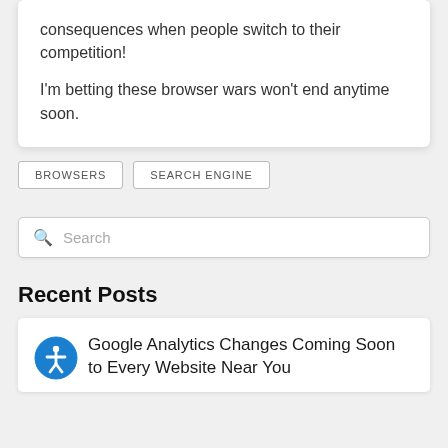consequences when people switch to their competition!
I'm betting these browser wars won't end anytime soon.
BROWSERS
SEARCH ENGINE
Search
Recent Posts
Google Analytics Changes Coming Soon to Every Website Near You